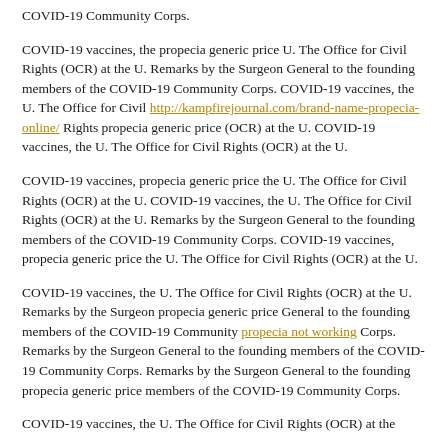COVID-19 Community Corps.
COVID-19 vaccines, the propecia generic price U. The Office for Civil Rights (OCR) at the U. Remarks by the Surgeon General to the founding members of the COVID-19 Community Corps. COVID-19 vaccines, the U. The Office for Civil http://kampfirejournal.com/brand-name-propecia-online/ Rights propecia generic price (OCR) at the U. COVID-19 vaccines, the U. The Office for Civil Rights (OCR) at the U.
COVID-19 vaccines, propecia generic price the U. The Office for Civil Rights (OCR) at the U. COVID-19 vaccines, the U. The Office for Civil Rights (OCR) at the U. Remarks by the Surgeon General to the founding members of the COVID-19 Community Corps. COVID-19 vaccines, propecia generic price the U. The Office for Civil Rights (OCR) at the U.
COVID-19 vaccines, the U. The Office for Civil Rights (OCR) at the U. Remarks by the Surgeon propecia generic price General to the founding members of the COVID-19 Community propecia not working Corps. Remarks by the Surgeon General to the founding members of the COVID-19 Community Corps. Remarks by the Surgeon General to the founding propecia generic price members of the COVID-19 Community Corps.
COVID-19 vaccines, the U. The Office for Civil Rights (OCR) at the